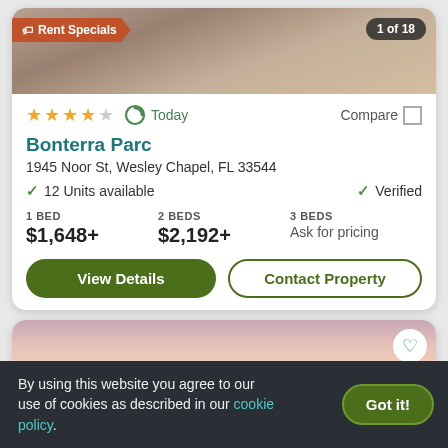[Figure (screenshot): Apartment listing card image with 'Rent Specials' badge and '1 of 18' counter]
★★★★☆  Today  Compare
Bonterra Parc
1945 Noor St, Wesley Chapel, FL 33544
✓ 12 Units available    ✓ Verified
1 BED $1,648+    2 BEDS $2,192+    3 BEDS Ask for pricing
View Details  Contact Property
[Figure (photo): Second listing card showing sunset sky background with heart/favorite button]
By using this website you agree to our use of cookies as described in our cookie policy.  Got it!